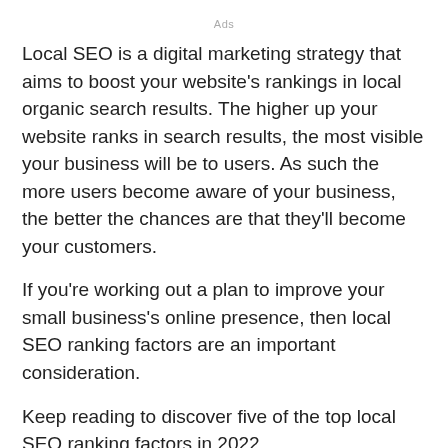Ads
Local SEO is a digital marketing strategy that aims to boost your website's rankings in local organic search results. The higher up your website ranks in search results, the most visible your business will be to users. As such the more users become aware of your business, the better the chances are that they’ll become your customers.
If you’re working out a plan to improve your small business’s online presence, then local SEO ranking factors are an important consideration.
Keep reading to discover five of the top local SEO ranking factors in 2022.